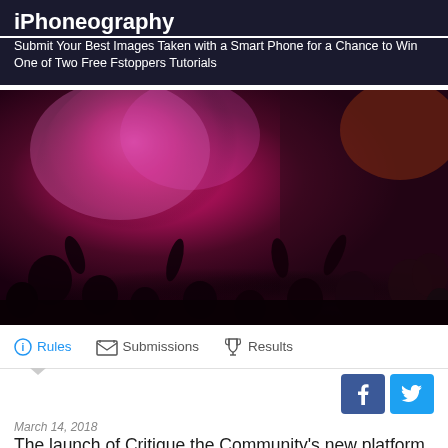iPhoneography
Submit Your Best Images Taken with a Smart Phone for a Chance to Win One of Two Free Fstoppers Tutorials
[Figure (photo): Crowd of people at Holi festival celebration with vivid pink/magenta colored powder smoke filling the air]
Rules   Submissions   Results
March 14, 2018
The launch of Critique the Community's new platform was a huge success and so we're bringing another episode that